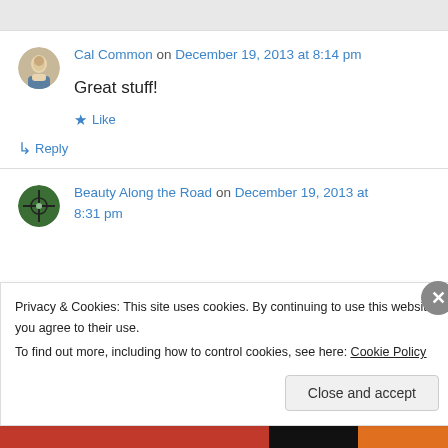[Figure (photo): Gray header bar at top of page]
Cal Common on December 19, 2013 at 8:14 pm
Great stuff!
★ Like
↳ Reply
Beauty Along the Road on December 19, 2013 at 8:31 pm
Privacy & Cookies: This site uses cookies. By continuing to use this website, you agree to their use.
To find out more, including how to control cookies, see here: Cookie Policy
Close and accept